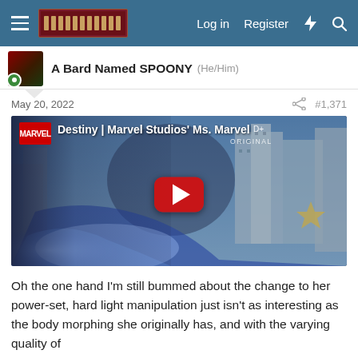A Bard Named SPOONY (He/Him)
May 20, 2022  #1,371
[Figure (screenshot): YouTube video thumbnail for 'Destiny | Marvel Studios' Ms. Marvel | Disney+ ORIGINAL' with Marvel logo, a female superhero in costume with glowing arm, cityscape background, and red play button overlay.]
Oh the one hand I'm still bummed about the change to her power-set, hard light manipulation just isn't as interesting as the body morphing she originally has, and with the varying quality of